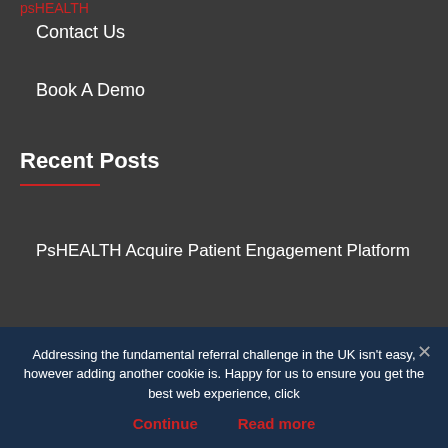psHEALTH (partially visible)
Contact Us
Book A Demo
Recent Posts
PsHEALTH Acquire Patient Engagement Platform
Empowered And Informed Patients: Automated
[Figure (logo): PsHEALTH logo with red 'ps' and grey-blue 'HEALTH' text]
Addressing the fundamental referral challenge in the UK isn't easy, however adding another cookie is. Happy for us to ensure you get the best web experience, click
Continue    Read more